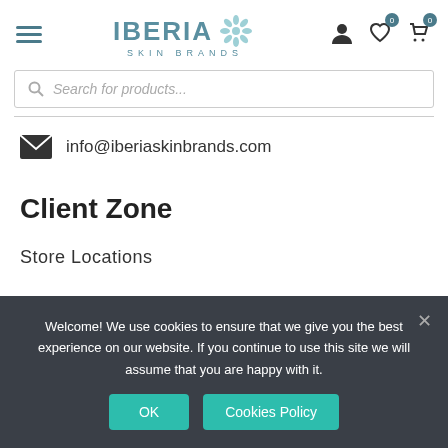IBERIA SKIN BRANDS
Search for products...
info@iberiaskinbrands.com
Client Zone
Store Locations
Welcome! We use cookies to ensure that we give you the best experience on our website. If you continue to use this site we will assume that you are happy with it.